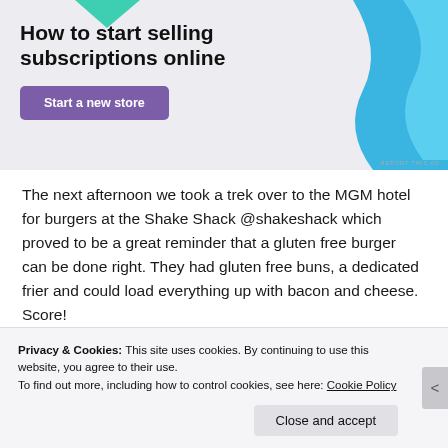[Figure (screenshot): Advertisement banner with title 'How to start selling subscriptions online', a purple 'Start a new store' button, blue decorative shape on the right, and a green arrow at top. 'REPORT THIS AD' text at bottom right.]
The next afternoon we took a trek over to the MGM hotel for burgers at the Shake Shack @shakeshack which proved to be a great reminder that a gluten free burger can be done right. They had gluten free buns, a dedicated frier and could load everything up with bacon and cheese. Score!
[Figure (photo): Partial food photo strip showing a brown/reddish food item, likely a burger.]
Privacy & Cookies: This site uses cookies. By continuing to use this website, you agree to their use.
To find out more, including how to control cookies, see here: Cookie Policy
Close and accept